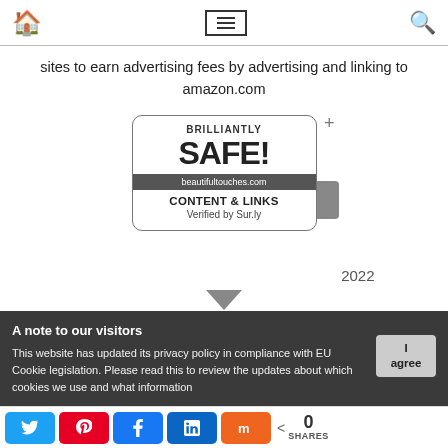Home | Menu | Search
sites to earn advertising fees by advertising and linking to amazon.com
[Figure (logo): Brilliantly Safe badge with text: BRILLIANTLY SAFE! beautifultouches.com CONTENT & LINKS Verified by Sur.ly 2022]
A note to our visitors
This website has updated its privacy policy in compliance with EU Cookie legislation. Please read this to review the updates about which cookies we use and what information
Social share bar: Twitter, Pinterest, Facebook, LinkedIn, Mix. 0 SHARES